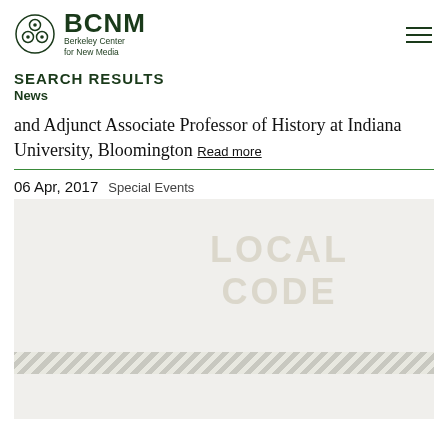BCNM Berkeley Center for New Media
SEARCH RESULTS
News
and Adjunct Associate Professor of History at Indiana University, Bloomington Read more
06 Apr, 2017  Special Events
[Figure (photo): Image with watermark text 'LOCAL CODE' visible in light gray over a light beige background, with a diagonal stripe bar separating upper and lower portions of the image.]